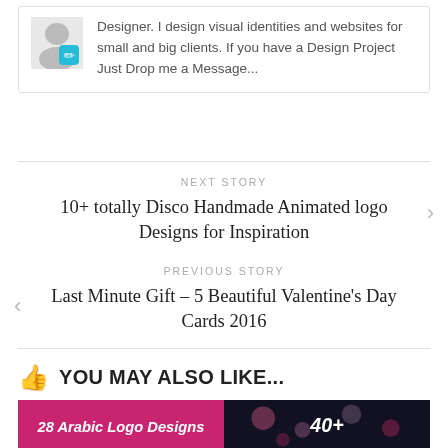Designer. I design visual identities and websites for small and big clients. If you have a Design Project Just Drop me a Message...
NEXT STORY
10+ totally Disco Handmade Animated logo Designs for Inspiration
PREVIOUS STORY
Last Minute Gift – 5 Beautiful Valentine's Day Cards 2016
YOU MAY ALSO LIKE...
[Figure (photo): Thumbnail image for '28 Arabic Logo Designs' with pink/magenta background]
[Figure (photo): Thumbnail image for '40+' article with dark background and bokeh lights]